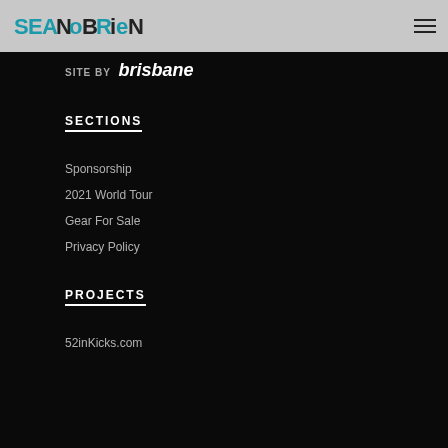SEANOBRIEN — site header with logo and hamburger menu
SITE BY brisbane
SECTIONS
Sponsorship
2021 World Tour
Gear For Sale
Privacy Policy
PROJECTS
52inKicks.com